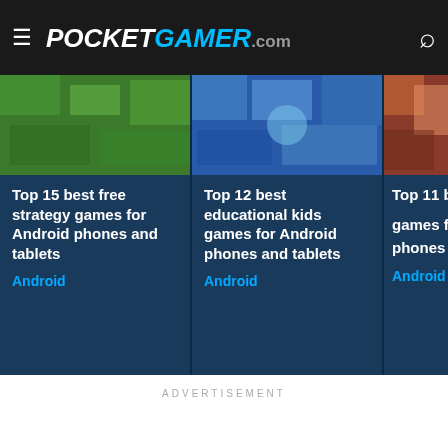PocketGamer.com
Top 15 best free strategy games for Android phones and tablets
Android
Top 12 best educational kids games for Android phones and tablets
Android
Top 11 best MO... games for Android phones and ta...
Android
ADVERTISEMENT